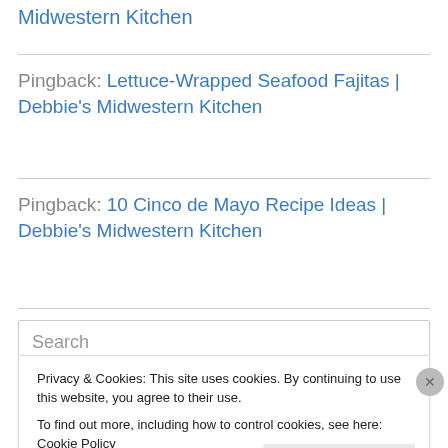Midwestern Kitchen
Pingback: Lettuce-Wrapped Seafood Fajitas | Debbie's Midwestern Kitchen
Pingback: 10 Cinco de Mayo Recipe Ideas | Debbie's Midwestern Kitchen
Search
Privacy & Cookies: This site uses cookies. By continuing to use this website, you agree to their use.
To find out more, including how to control cookies, see here: Cookie Policy
Close and accept